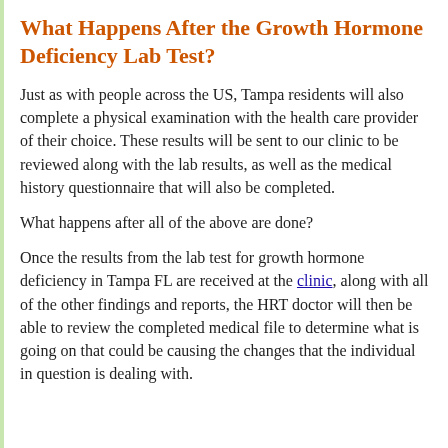What Happens After the Growth Hormone Deficiency Lab Test?
Just as with people across the US, Tampa residents will also complete a physical examination with the health care provider of their choice. These results will be sent to our clinic to be reviewed along with the lab results, as well as the medical history questionnaire that will also be completed.
What happens after all of the above are done?
Once the results from the lab test for growth hormone deficiency in Tampa FL are received at the clinic, along with all of the other findings and reports, the HRT doctor will then be able to review the completed medical file to determine what is going on that could be causing the changes that the individual in question is dealing with.